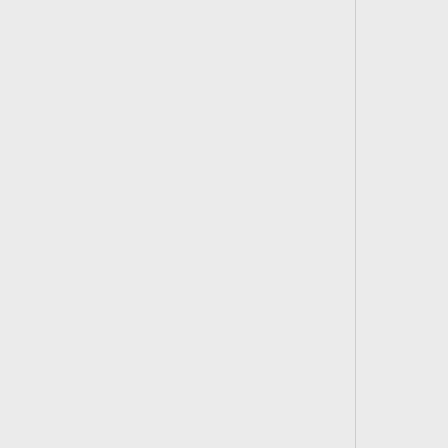[Figure (screenshot): A wiki editor interface showing a content box with monospace text describing how to use a '<tt>source</tt>' HTML-style tag with a 'lang' attribute matching the file extension for source code (e.g., 'c' for C code, 'cpp' for C++ code, 'py' for Python). There is a top empty white box and a blue-highlighted text content box below, with plus signs on the left side.]